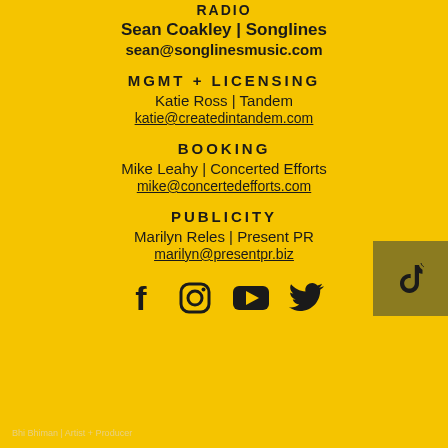RADIO
Sean Coakley | Songlines
sean@songlinesmusic.com
MGMT + LICENSING
Katie Ross | Tandem
katie@createdintandem.com
BOOKING
Mike Leahy | Concerted Efforts
mike@concertedefforts.com
PUBLICITY
Marilyn Reles | Present PR
marilyn@presentpr.biz
[Figure (infographic): Social media icons: Facebook, Instagram, YouTube, Twitter, TikTok]
Bhi Bhiman | Artist + Producer